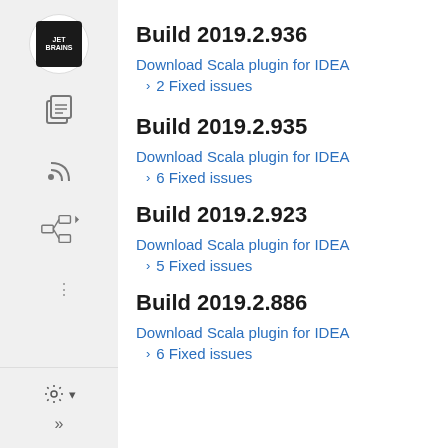Build 2019.2.936
Download Scala plugin for IDEA
› 2 Fixed issues
Build 2019.2.935
Download Scala plugin for IDEA
› 6 Fixed issues
Build 2019.2.923
Download Scala plugin for IDEA
› 5 Fixed issues
Build 2019.2.886
Download Scala plugin for IDEA
› 6 Fixed issues